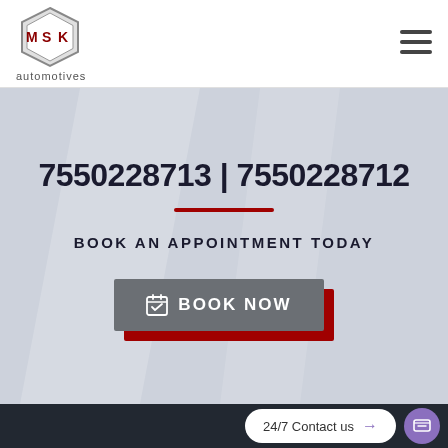[Figure (logo): MSK Automotives logo — hexagonal badge with M, S, K letters in dark red/grey]
automotives
[Figure (infographic): Hamburger menu icon (three horizontal lines)]
7550228713 | 7550228712
BOOK AN APPOINTMENT TODAY
[Figure (infographic): Book Now button with calendar icon, grey with red shadow]
24/7 Contact us
[Figure (infographic): Purple circle chat icon in footer]